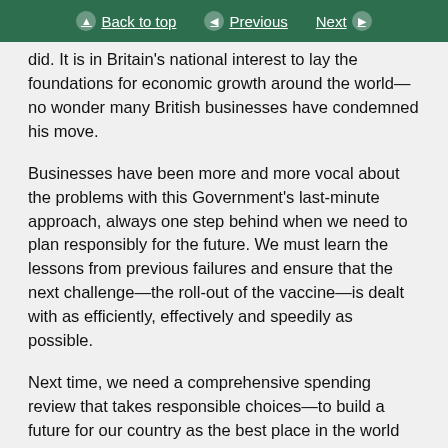Back to top | Previous | Next
did. It is in Britain's national interest to lay the foundations for economic growth around the world—no wonder many British businesses have condemned his move.
Businesses have been more and more vocal about the problems with this Government's last-minute approach, always one step behind when we need to plan responsibly for the future. We must learn the lessons from previous failures and ensure that the next challenge—the roll-out of the vaccine—is dealt with as efficiently, effectively and speedily as possible.
Next time, we need a comprehensive spending review that takes responsible choices—to build a future for our country as the best place in the world